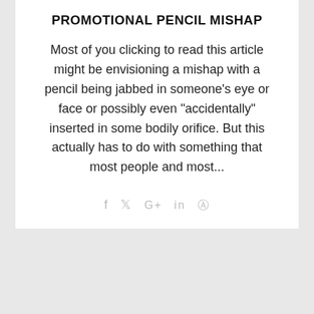PROMOTIONAL PENCIL MISHAP
Most of you clicking to read this article might be envisioning a mishap with a pencil being jabbed in someone's eye or face or possibly even "accidentally" inserted in some bodily orifice. But this actually has to do with something that most people and most...
f  ✓  G+  in  ⊕
22
Nov